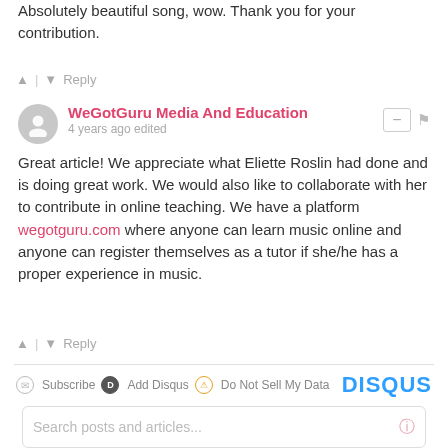Absolutely beautiful song, wow. Thank you for your contribution.
▲ | ▼ Reply
WeGotGuru Media And Education · 4 years ago edited
Great article! We appreciate what Eliette Roslin had done and is doing great work. We would also like to collaborate with her to contribute in online teaching. We have a platform wegotguru.com where anyone can learn music online and anyone can register themselves as a tutor if she/he has a proper experience in music.
▲ | ▼ Reply
Subscribe · Add Disqus · Do Not Sell My Data · DISQUS
Search posts and articles...